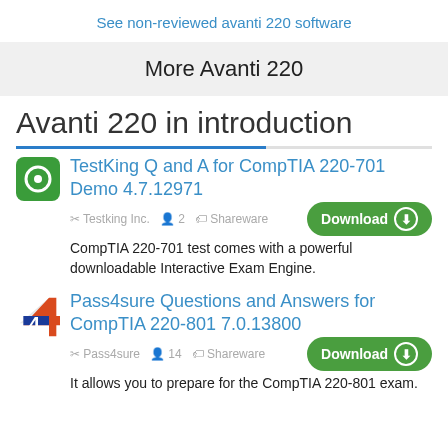See non-reviewed avanti 220 software
More Avanti 220
Avanti 220 in introduction
TestKing Q and A for CompTIA 220-701 Demo 4.7.12971
Testking Inc.  2  Shareware  Download
CompTIA 220-701 test comes with a powerful downloadable Interactive Exam Engine.
Pass4sure Questions and Answers for CompTIA 220-801 7.0.13800
Pass4sure  14  Shareware  Download
It allows you to prepare for the CompTIA 220-801 exam.